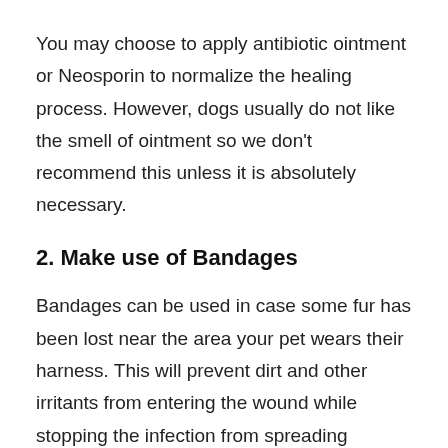You may choose to apply antibiotic ointment or Neosporin to normalize the healing process. However, dogs usually do not like the smell of ointment so we don't recommend this unless it is absolutely necessary.
2. Make use of Bandages
Bandages can be used in case some fur has been lost near the area your pet wears their harness. This will prevent dirt and other irritants from entering the wound while stopping the infection from spreading throughout your pet's body. Change these regularly until all signs have disappeared.